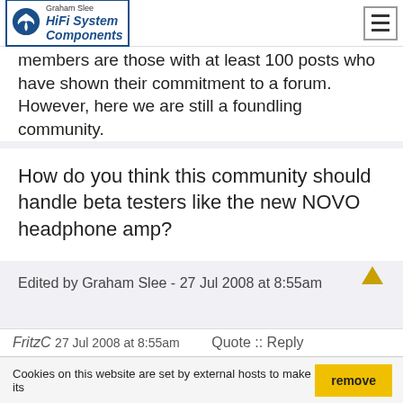Graham Slee HiFi System Components [navigation logo and hamburger menu]
members are those with at least 100 posts who have shown their commitment to a forum. However, here we are still a foundling community.
How do you think this community should handle beta testers like the new NOVO headphone amp?
Edited by Graham Slee - 27 Jul 2008 at 8:55am
FritzC  27 Jul 2008 at 8:55am     Quote :: Reply
Cookies on this website are set by external hosts to make its
remove